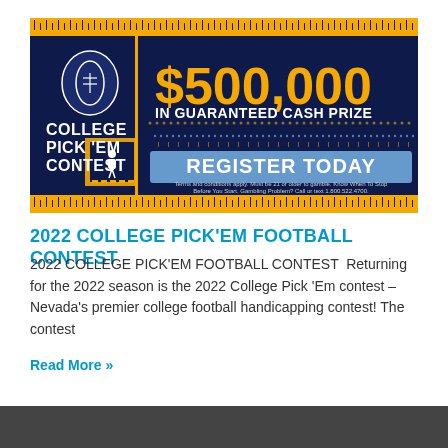[Figure (infographic): College Pick'Em Contest banner. Dark navy blue background with yellow/gold ruler border top and bottom. Left side has a football logo with text 'COLLEGE PICK EM CONTEST' on a gold diamond shield. Right side shows '$500,000 IN GUARANTEED CASH PRIZES' in large bold yellow/white text, a blue 'REGISTER TODAY' button, and disclaimer text at bottom.]
2022 COLLEGE PICK'EM FOOTBALL CONTEST
2022 COLLEGE PICK'EM FOOTBALL CONTEST  Returning for the 2022 season is the 2022 College Pick 'Em contest – Nevada's premier college football handicapping contest! The contest
Read More »